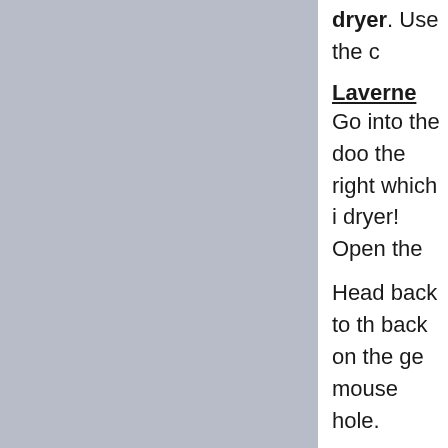[Figure (other): Gray rectangular panel on the left side of the page]
dryer. Use the c
Laverne
Go into the doo the right which i dryer! Open the
Head back to th back on the ge mouse hole.
Bernard
Give the flyer to
Hoagie
Walk down the s box. Washington vacuum cleaner